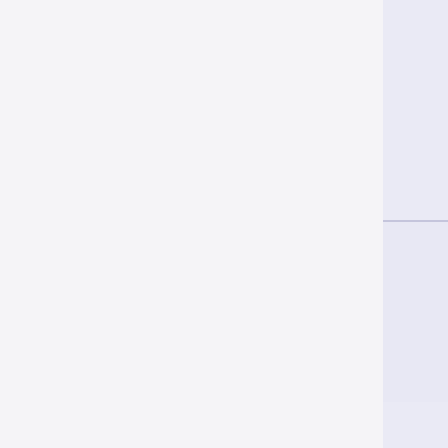| Filename | Info |
| --- | --- |
| 1600×1200 | 16 |
| 2010/12/18 | 20 |
| 17:39 |  |
| 1.4 MB | 1 |
| (image) | (image) |
| cmax_09_fig... | cmax... |
| 1600×1200 | 16 |
| 2010/12/18 | 20 |
| 17:38 |  |
| 1.2 MB | 1 |
| (image) | (image) |
| cmax_09_fig... | cmax... |
| 1600×1200 | 16 |